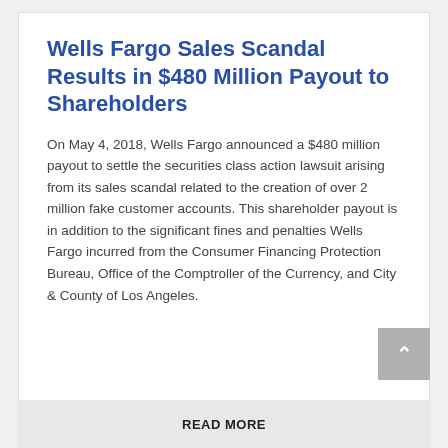Wells Fargo Sales Scandal Results in $480 Million Payout to Shareholders
On May 4, 2018, Wells Fargo announced a $480 million payout to settle the securities class action lawsuit arising from its sales scandal related to the creation of over 2 million fake customer accounts. This shareholder payout is in addition to the significant fines and penalties Wells Fargo incurred from the Consumer Financing Protection Bureau, Office of the Comptroller of the Currency, and City & County of Los Angeles.
READ MORE